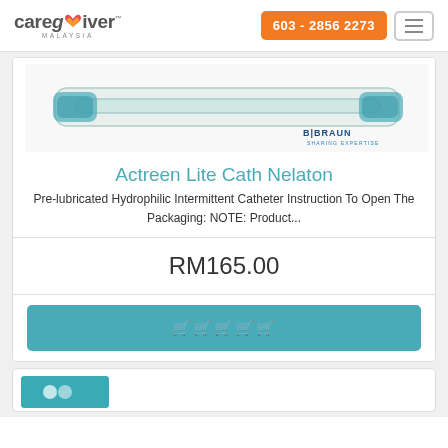caregiver MALAYSIA | 603 - 2856 2273
[Figure (photo): Actreen Lite Cath Nelaton catheter product in clear packaging, shown as a long thin medical tube, with B.BRAUN SHARING EXPERTISE logo in bottom right corner]
Actreen Lite Cath Nelaton
Pre-lubricated Hydrophilic Intermittent Catheter Instruction To Open The Packaging: NOTE: Product...
RM165.00
Add to cart (button)